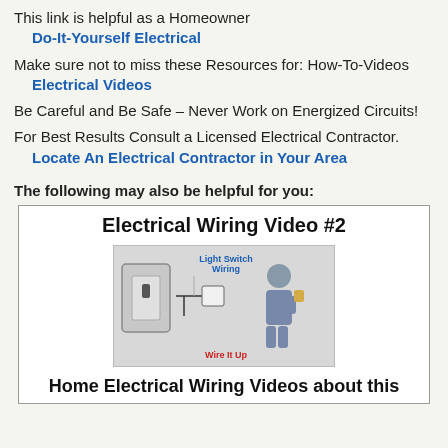This link is helpful as a Homeowner
Do-It-Yourself Electrical
Make sure not to miss these Resources for: How-To-Videos
Electrical Videos
Be Careful and Be Safe – Never Work on Energized Circuits!
For Best Results Consult a Licensed Electrical Contractor.
Locate An Electrical Contractor in Your Area
The following may also be helpful for you:
[Figure (screenshot): Video thumbnail box with title 'Electrical Wiring Video #2', an image showing Light Switch Wiring with a person and a light switch plate, and subtitle 'Home Electrical Wiring Videos about this']